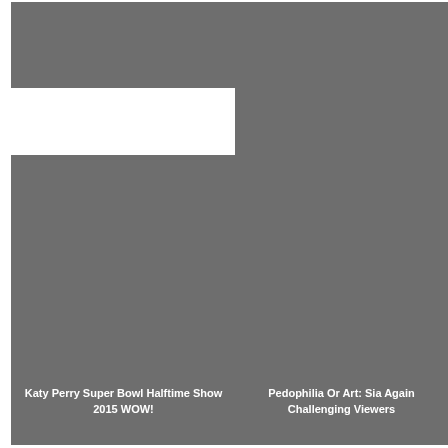[Figure (photo): Gray placeholder image, top-left]
[Figure (photo): Gray placeholder image, top-right]
[Figure (photo): Gray placeholder image, bottom-left, with caption overlay: Katy Perry Super Bowl Halftime Show 2015 WOW!]
[Figure (photo): Gray placeholder image, bottom-right, with caption overlay: Pedophilia Or Art: Sia Again Challenging Viewers]